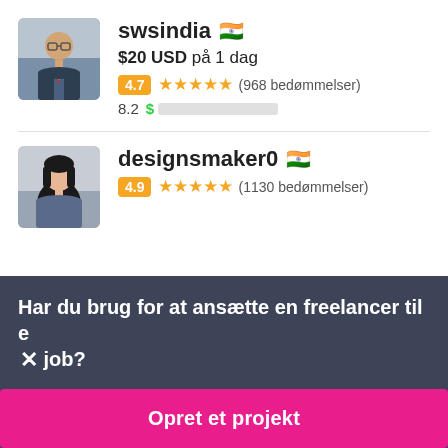[Figure (screenshot): Freelancer profile card for swsindia: avatar photo, username with Indian flag, price $20 USD på 1 dag, rating 4.7 with 5 stars and (968 bedømmelser), score 8.2 with green dollar bar]
swsindia 🇮🇳
$20 USD på 1 dag
4.7 ★★★★★ (968 bedømmelser)
8.2 $ ██████████░░
[Figure (screenshot): Freelancer profile card for designsmaker0: avatar photo, username with Indian flag, rating 4.9 with 5 stars and (1130 bedømmelser)]
designsmaker0 🇮🇳
4.9 ★★★★★ (1130 bedømmelser)
Har du brug for at ansætte en freelancer til et job?
Opret et projekt